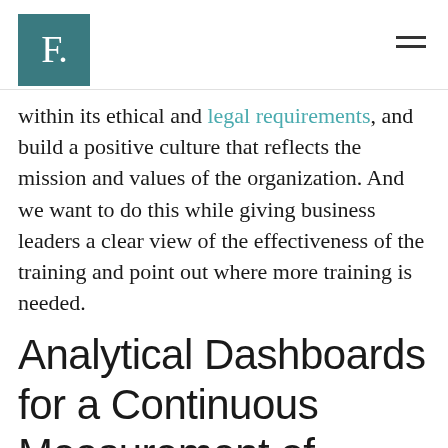F.
within its ethical and legal requirements, and build a positive culture that reflects the mission and values of the organization. And we want to do this while giving business leaders a clear view of the effectiveness of the training and point out where more training is needed.
Analytical Dashboards for a Continuous Measurement of Progress